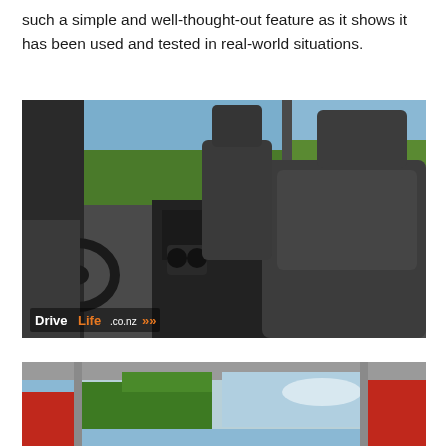such a simple and well-thought-out feature as it shows it has been used and tested in real-world situations.
[Figure (photo): Interior view of a truck cab showing dark grey upholstered front seats with a centre console armrest and cup holders. Steering wheel visible on left. Green landscape and sky visible through windows. DriveLife.co.nz watermark in lower left corner.]
[Figure (photo): Partial view of a red truck exterior showing the door frame, roof, and window with green trees visible through the glass.]